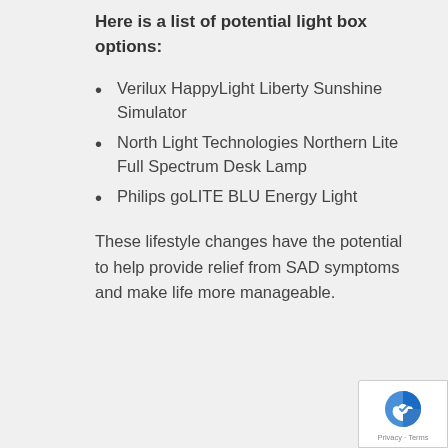Here is a list of potential light box options:
Verilux HappyLight Liberty Sunshine Simulator
North Light Technologies Northern Lite Full Spectrum Desk Lamp
Philips goLITE BLU Energy Light
These lifestyle changes have the potential to help provide relief from SAD symptoms and make life more manageable.